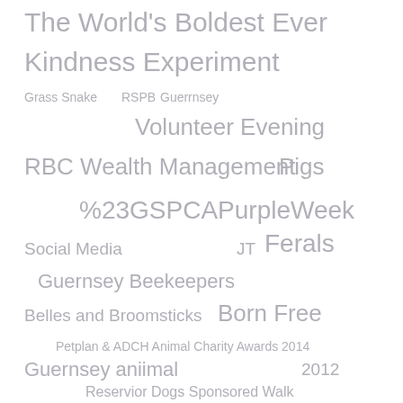[Figure (infographic): A tag cloud featuring various terms related to animal welfare and charity events in Guernsey, rendered in gray text at varying sizes and positions. Terms include: The World's Boldest Ever Kindness Experiment, Grass Snake, RSPB, Guerrnsey, Volunteer Evening, RBC Wealth Management, Pigs, %23GSPCAPurpleWeek, Social Media, JT, Ferals, Guernsey Beekeepers, Belles and Broomsticks, Born Free, Petplan & ADCH Animal Charity Awards 2014, Guernsey aniimal, 2012, Reservior Dogs Sponsored Walk, Vancancy, the Vinyls, Beaches, Ceva Awards for Animal Welfare 2015, Feel Unique.]